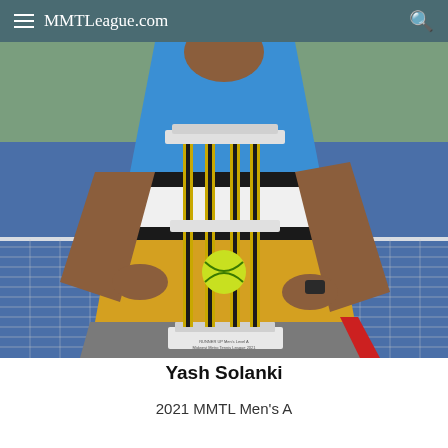MMTLeague.com
[Figure (photo): A person holding a large tennis trophy in front of a tennis net. The person is wearing a blue, white, and yellow/gold tennis shirt and grey shorts. The trophy has vertical black and gold pillars with a tennis ball in the center. The trophy base appears to read 'RUNNER UP Men's Level A Midwest Metro Tennis League 2021'.]
Yash Solanki
2021 MMTL Men's A